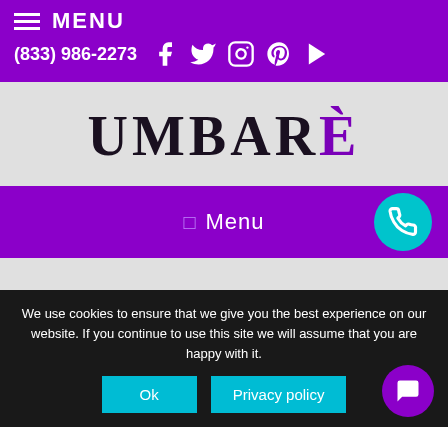MENU
(833) 986-2273
[Figure (logo): UMBARÈ brand logo in serif font with purple accent on accent grave]
Menu
We use cookies to ensure that we give you the best experience on our website. If you continue to use this site we will assume that you are happy with it.
Ok
Privacy policy